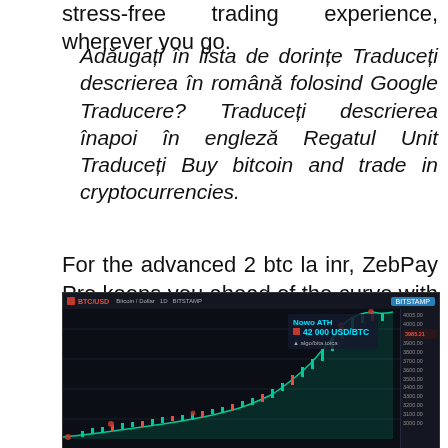stress-free trading experience, wherever you go.
Adăugați în lista de dorințe Traduceți descrierea în română folosind Google Traducere? Traduceți descrierea înapoi în engleză Regatul Unit Traduceți Buy bitcoin and trade in cryptocurrencies.
For the advanced 2 btc la inr, ZebPay Pro keeps you ahead of the curve with a range of premium charting tools on a web interface. You can manage your account, execute trades and observe market trends - all on one screen.
[Figure (screenshot): Screenshot of a cryptocurrency trading chart interface showing Bitcoin/USD price with a rising candlestick chart and a 'Nowo ATH 42 000 USD/BTC' annotation in the upper right area. Dark-themed trading platform UI.]